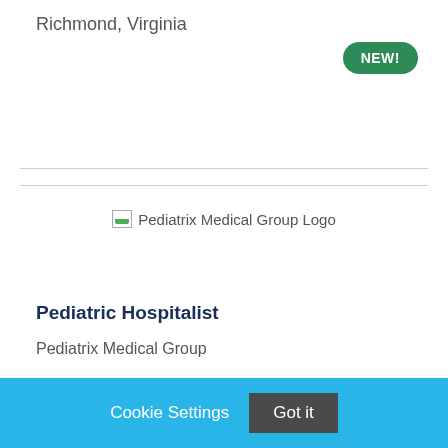Richmond, Virginia
[Figure (logo): Pediatrix Medical Group Logo]
Pediatric Hospitalist
Pediatrix Medical Group
Cookie Settings  Got it
We use cookies so that we can remember you and understand how you use our site. If you do not agree with our use of cookies, please change the current settings found in our Cookie Policy. Otherwise, you agree to the use of the cookies as they are currently set.